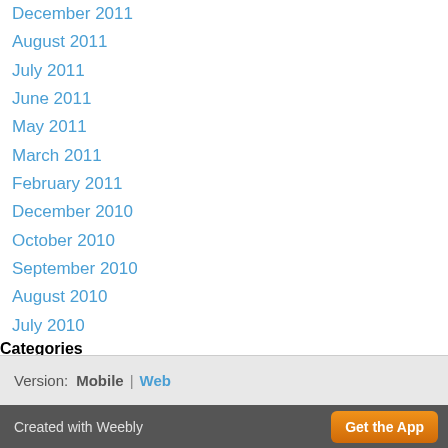December 2011
August 2011
July 2011
June 2011
May 2011
March 2011
February 2011
December 2010
October 2010
September 2010
August 2010
July 2010
Categories
All
RSS Feed
Version: Mobile | Web
Created with Weebly  Get the App